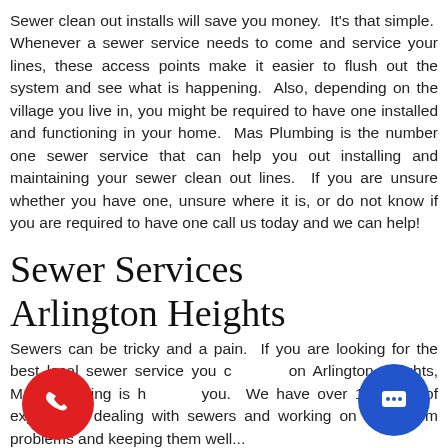Sewer clean out installs will save you money. It's that simple. Whenever a sewer service needs to come and service your lines, these access points make it easier to flush out the system and see what is happening. Also, depending on the village you live in, you might be required to have one installed and functioning in your home. Mas Plumbing is the number one sewer service that can help you out installing and maintaining your sewer clean out lines. If you are unsure whether you have one, unsure where it is, or do not know if you are required to have one call us today and we can help!
Sewer Services Arlington Heights
Sewers can be tricky and a pain. If you are looking for the best local sewer service you can find on Arlington Heights, Mas Plumbing is here for you. We have over 19 years of experience dealing with sewers and working on them from problems and keeping them well...